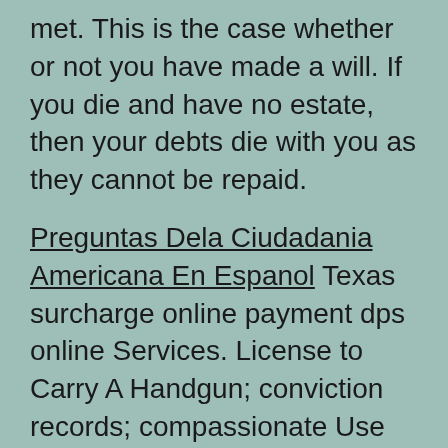met. This is the case whether or not you have made a will. If you die and have no estate, then your debts die with you as they cannot be repaid.
Preguntas Dela Ciudadania Americana En Espanol Texas surcharge online payment dps online Services. License to Carry A Handgun; conviction records; compassionate Use Program; Crime Laboratory; Criminal History Search; Driver License or ID Card ; Driver License Office Locations; driver responsibility surcharge online Services System ; texas metals program; private security; regulatory